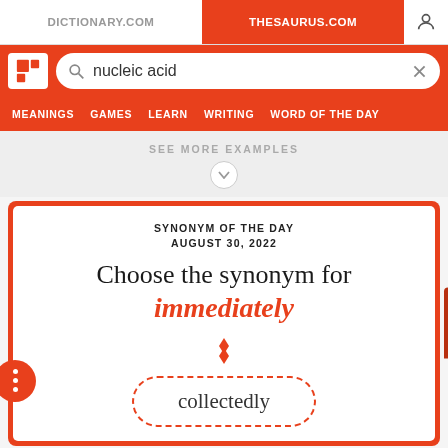DICTIONARY.COM    THESAURUS.COM
nucleic acid
MEANINGS   GAMES   LEARN   WRITING   WORD OF THE DAY
SEE MORE EXAMPLES
SYNONYM OF THE DAY
AUGUST 30, 2022
Choose the synonym for immediately
collectedly